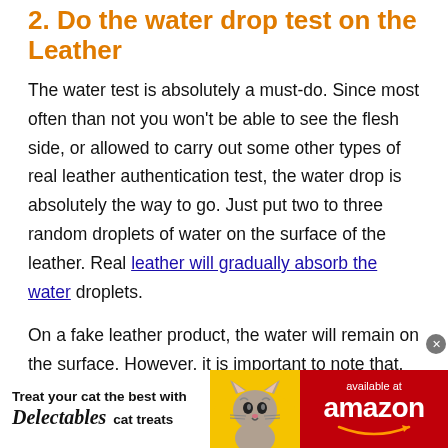2. Do the water drop test on the Leather
The water test is absolutely a must-do. Since most often than not you won’t be able to see the flesh side, or allowed to carry out some other types of real leather authentication test, the water drop is absolutely the way to go. Just put two to three random droplets of water on the surface of the leather. Real leather will gradually absorb the water droplets.
On a fake leather product, the water will remain on the surface. However, it is important to note that,
[Figure (infographic): Advertisement banner: Treat your cat the best with Delectables cat treats, available at Amazon, with an image of a cat and yellow/red background.]